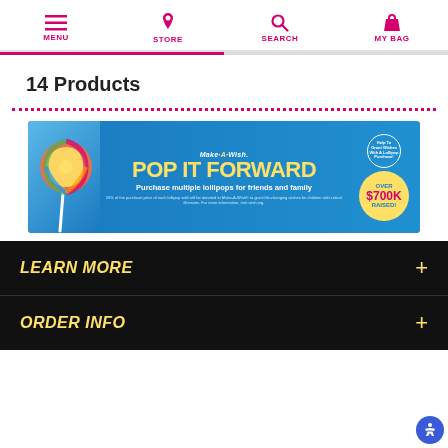MENU | STORE | SEARCH | MY BAG
14 Products
[Figure (infographic): Make-A-Wish 'POP IT FORWARD' promotional banner. Blue background with a child holding a rainbow lollipop on the left. Center text: Make-A-Wish, POP IT FORWARD, Purchase multiple lollipops for friends and family. Right side shows a yellow badge: OVER $700K RAISED!]
LEARN MORE
ORDER INFO